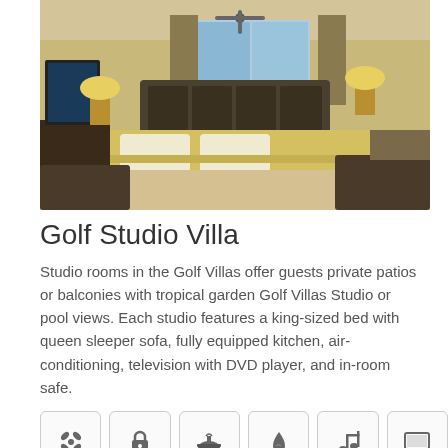[Figure (photo): Hotel room interior — Golf Studio Villa with king bed, yellow bedding, seating area, curtains, ceiling fan, and tropical garden view]
Golf Studio Villa
Studio rooms in the Golf Villas offer guests private patios or balconies with tropical garden Golf Villas Studio or pool views. Each studio features a king-sized bed with queen sleeper sofa, fully equipped kitchen, air-conditioning, television with DVD player, and in-room safe.
[Figure (infographic): Six amenity icons in rounded-square boxes: fan/air-conditioning, lock/safe, cooking pot/kitchen, water drop, music note, and TV/monitor]
Unavailable
No rates available for room.